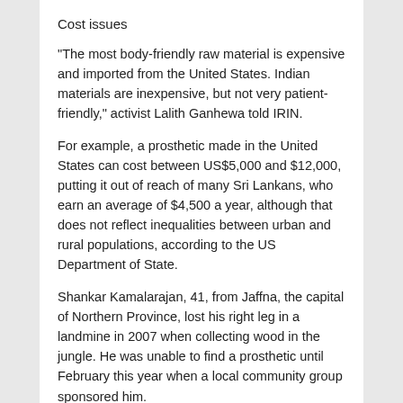Cost issues
“The most body-friendly raw material is expensive and imported from the United States. Indian materials are inexpensive, but not very patient-friendly,” activist Lalith Ganhewa told IRIN.
For example, a prosthetic made in the United States can cost between US$5,000 and $12,000, putting it out of reach of many Sri Lankans, who earn an average of $4,500 a year, although that does not reflect inequalities between urban and rural populations, according to the US Department of State.
Shankar Kamalarajan, 41, from Jaffna, the capital of Northern Province, lost his right leg in a landmine in 2007 when collecting wood in the jungle. He was unable to find a prosthetic until February this year when a local community group sponsored him.
But for those who cannot find sponsors, the prospects look bleak.